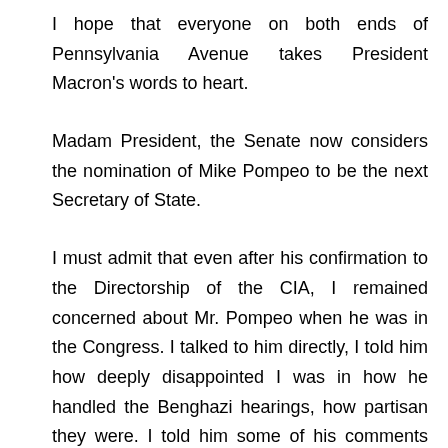I hope that everyone on both ends of Pennsylvania Avenue takes President Macron's words to heart.
Madam President, the Senate now considers the nomination of Mike Pompeo to be the next Secretary of State.
I must admit that even after his confirmation to the Directorship of the CIA, I remained concerned about Mr. Pompeo when he was in the Congress. I talked to him directly, I told him how deeply disappointed I was in how he handled the Benghazi hearings, how partisan they were. I told him some of his comments about minority groups, Muslims in particular were way over the top. Over the course of his tenure at Langley, I met with him several times after that first meeting where I had given him my